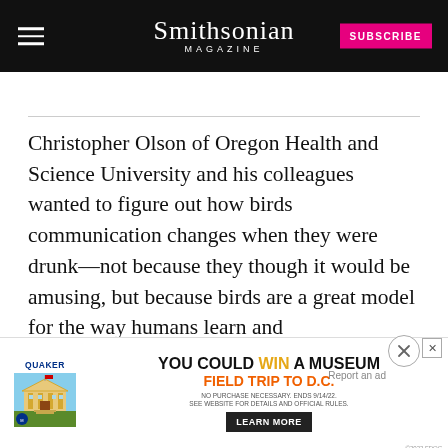Smithsonian Magazine
Christopher Olson of Oregon Health and Science University and his colleagues wanted to figure out how birds communication changes when they were drunk—not because they though it would be amusing, but because birds are a great model for the way humans learn and communicate with language. Since alcohol gives us a c… same to bi…
[Figure (screenshot): Advertisement banner: Quaker Museum Day promotion — 'You could WIN a Museum Field Trip to D.C. Learn More']